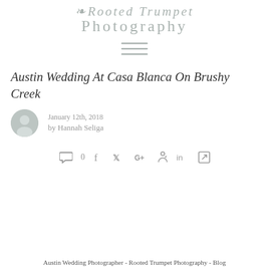Rooted Trumpet Photography
[Figure (other): Hamburger menu icon — three horizontal lines]
Austin Wedding At Casa Blanca On Brushy Creek
January 12th, 2018 by Hannah Seliga
[Figure (other): Social sharing bar with comment bubble (0), Facebook, Twitter, Google+, Pinterest, LinkedIn, and share icons]
Austin Wedding Photographer - Rooted Trumpet Photography - Blog